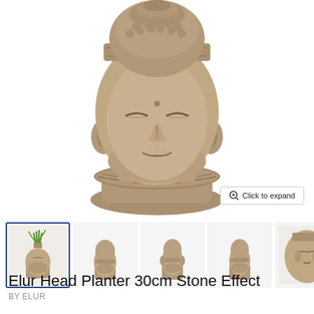[Figure (photo): Large product photo of a stone-effect Buddha/deity head planter with ornate headdress and necklace detail, shown against white background. A 'Click to expand' button appears in the bottom-right of the image.]
[Figure (photo): Thumbnail gallery row showing 6 views of the Elur Head Planter 30cm Stone Effect product. First thumbnail is selected (blue border) and shows the planter with green grass growing from the top. Remaining thumbnails show different angles of the plain stone-effect head planter. A right-arrow navigation button appears at the end.]
Elur Head Planter 30cm Stone Effect
BY ELUR